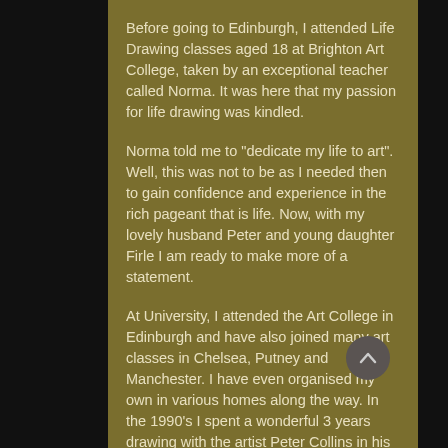Before going to Edinburgh, I attended Life Drawing classes aged 18 at Brighton Art College, taken by an exceptional teacher called Norma. It was here that my passion for life drawing was kindled.
Norma told me to "dedicate my life to art". Well, this was not to be as I needed then to gain confidence and experience in the rich pageant that is life. Now, with my lovely husband Peter and young daughter Firle I am ready to make more of a statement.
At University, I attended the Art College in Edinburgh and have also joined many art classes in Chelsea, Putney and Manchester. I have even organised my own in various homes along the way. In the 1990's I spent a wonderful 3 years drawing with the artist Peter Collins in his studio in Chelsea, and painting there...